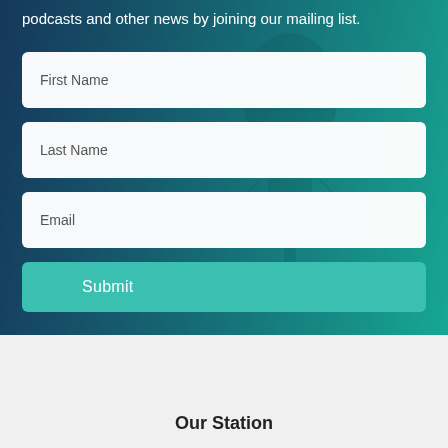podcasts and other news by joining our mailing list.
[Figure (screenshot): Form with First Name, Last Name, Email fields and Submit button over a teal/dark blue background with microphone silhouette]
Our Station